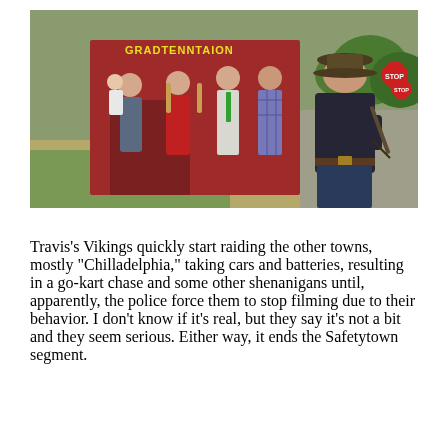[Figure (photo): Outdoor photograph showing a group of people standing in front of a red barn/shed. On the left, a woman holds a toddler, next to a woman in red, a man in a suit with a green tie, and a man in plaid. On the right, a heavyset man in a dark shirt and hat stands holding what appears to be a stick or baton. A stop sign is visible in the background on the right side.]
Travis’s Vikings quickly start raiding the other towns, mostly “Chilladelphia,” taking cars and batteries, resulting in a go-kart chase and some other shenanigans until, apparently, the police force them to stop filming due to their behavior. I don’t know if it’s real, but they say it’s not a bit and they seem serious. Either way, it ends the Safetytown segment.